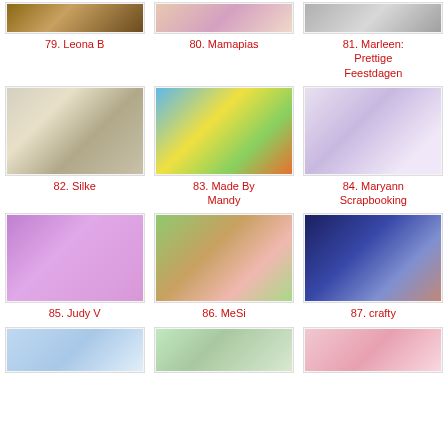[Figure (photo): Partial top image - entry 79 Leona B]
79. Leona B
[Figure (photo): Partial top image - entry 80 Mamapias]
80. Mamapias
[Figure (photo): Partial top image - entry 81 Marleen]
81. Marleen: Prettige Feestdagen
[Figure (photo): Craft card with 50th birthday blocks - entry 82 Silke]
82. Silke
[Figure (photo): VW bus / Volkswagen van illustration - entry 83 Made By Mandy]
83. Made By Mandy
[Figure (photo): Gift bag with ribbon and decorations - entry 84 Maryann Scrapbooking]
84. Maryann Scrapbooking
[Figure (photo): Purple card with girl and balloons - entry 85 Judy V]
85. Judy V
[Figure (photo): Farm scene with pig card - entry 86 MeSi]
86. MeSi
[Figure (photo): Circular embroidery hoop with two characters - entry 87 crafty]
87. crafty
[Figure (photo): Partial bottom image - entry 88]
[Figure (photo): Partial bottom image - entry 89]
[Figure (photo): Partial bottom image - entry 90]